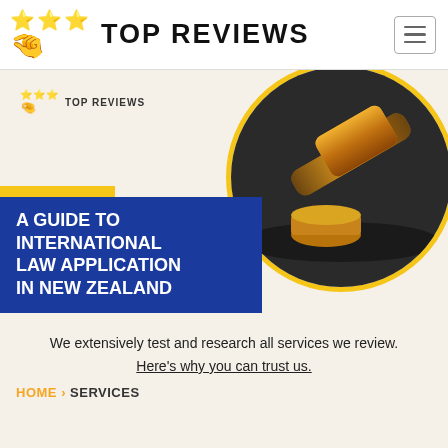TOP REVIEWS
[Figure (screenshot): Hero banner with circular gavel photo, yellow accent bar, small Top Reviews logo, and blue title box reading 'A Guide to International Law Application in New Zealand']
A GUIDE TO INTERNATIONAL LAW APPLICATION IN NEW ZEALAND
We extensively test and research all services we review.
Here's why you can trust us.
HOME > SERVICES